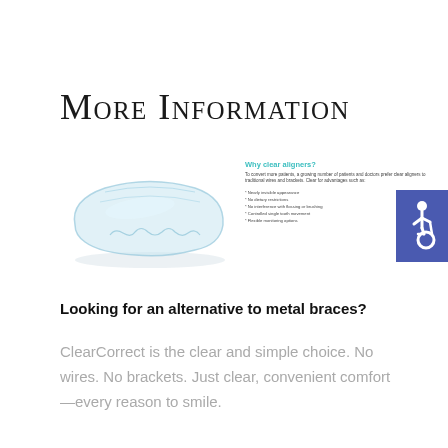More Information
[Figure (illustration): A clear dental aligner/retainer shown from above alongside an informational panel titled 'Why clear aligners?' with bullet points listing benefits such as nearly invisible appearance, no dietary restrictions, no interference with flossing or brushing, controlled single tooth movement, and flexible monitoring options. An accessibility wheelchair icon in a blue square is shown to the right.]
Looking for an alternative to metal braces?
ClearCorrect is the clear and simple choice. No wires. No brackets. Just clear, convenient comfort—every reason to smile.